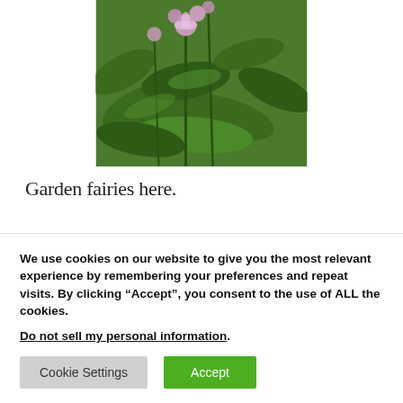[Figure (photo): Photograph of green leafy plants with small pink/purple flowers]
Garden fairies here.
We are garden fairies and we have a riddle to share.  We made it up ourselves so naturally, we think it is a most brilliant riddle for sharing.
We use cookies on our website to give you the most relevant experience by remembering your preferences and repeat visits. By clicking “Accept”, you consent to the use of ALL the cookies.
Do not sell my personal information.